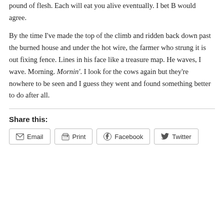pound of flesh. Each will eat you alive eventually. I bet B would agree.
By the time I've made the top of the climb and ridden back down past the burned house and under the hot wire, the farmer who strung it is out fixing fence. Lines in his face like a treasure map. He waves, I wave. Morning. Mornin'. I look for the cows again but they're nowhere to be seen and I guess they went and found something better to do after all.
Share this:
Email
Print
Facebook
Twitter